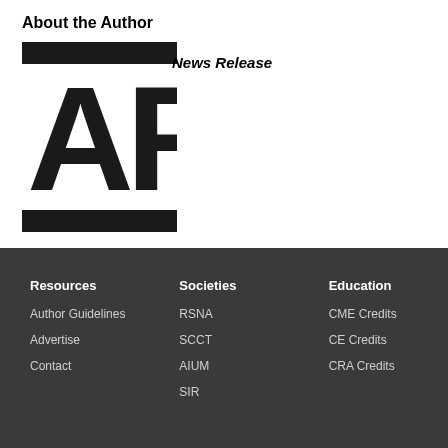About the Author
[Figure (logo): AR logo with bold black letters A and R, with black horizontal bars above and below, representing Academic Radiology publication logo]
News Release
Resources
Author Guidelines
Advertise
Contact
Societies
RSNA
SCCT
AIUM
SIR
Education
CME Credits
CE Credits
CRA Credits